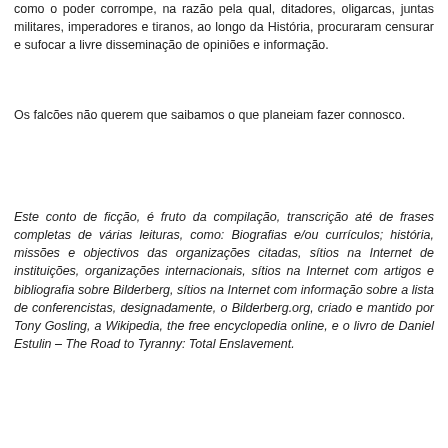como o poder corrompe, na razão pela qual, ditadores, oligarcas, juntas militares, imperadores e tiranos, ao longo da História, procuraram censurar e sufocar a livre disseminação de opiniões e informação.
Os falcões não querem que saibamos o que planeiam fazer connosco.
Este conto de ficção, é fruto da compilação, transcrição até de frases completas de várias leituras, como: Biografias e/ou currículos; história, missões e objectivos das organizações citadas, sítios na Internet de instituições, organizações internacionais, sítios na Internet com artigos e bibliografia sobre Bilderberg, sítios na Internet com informação sobre a lista de conferencistas, designadamente, o Bilderberg.org, criado e mantido por Tony Gosling, a Wikipedia, the free encyclopedia online, e o livro de Daniel Estulin – The Road to Tyranny: Total Enslavement.